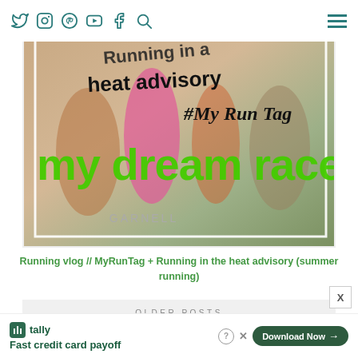Navigation bar with social icons: Twitter, Instagram, Pinterest, YouTube, Facebook, Search, and hamburger menu
[Figure (photo): Blog header image showing runners with overlaid text: 'Running in a heat advisory', '#My Run Tag', 'my dream race?' in large green text]
Running vlog // MyRunTag + Running in the heat advisory (summer running)
OLDER POSTS
Select Month
INSTAGRAM
Fast credit card payoff
Download Now